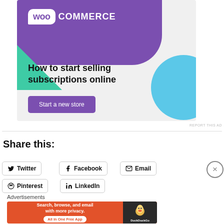[Figure (illustration): WooCommerce advertisement banner with purple background, WooCommerce logo, teal triangle, cyan circle, headline 'How to start selling subscriptions online', and purple 'Start a new store' button]
REPORT THIS AD
Share this:
Twitter
Facebook
Email
Pinterest
LinkedIn
Advertisements
[Figure (illustration): DuckDuckGo advertisement banner with orange/red background, text 'Search, browse, and email with more privacy. All in One Free App', and DuckDuckGo duck logo on dark right panel]